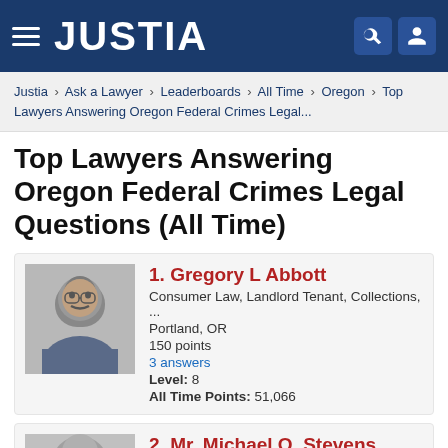JUSTIA
Justia › Ask a Lawyer › Leaderboards › All Time › Oregon › Top Lawyers Answering Oregon Federal Crimes Legal...
Top Lawyers Answering Oregon Federal Crimes Legal Questions (All Time)
1. Gregory L Abbott
Consumer Law, Landlord Tenant, Collections, ...
Portland, OR
150 points
3 answers
Level: 8
All Time Points: 51,066
2. Mr. Michael O. Stevens